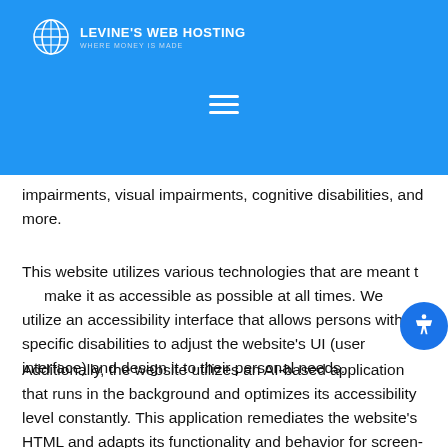LEVINE'S WEB HOSTING — WHERE MONEY IS MADE
impairments, visual impairments, cognitive disabilities, and more.
This website utilizes various technologies that are meant to make it as accessible as possible at all times. We utilize an accessibility interface that allows persons with specific disabilities to adjust the website's UI (user interface) and design it to their personal needs.
Additionally, the website utilizes an AI-based application that runs in the background and optimizes its accessibility level constantly. This application remediates the website's HTML and adapts its functionality and behavior for screen-readers